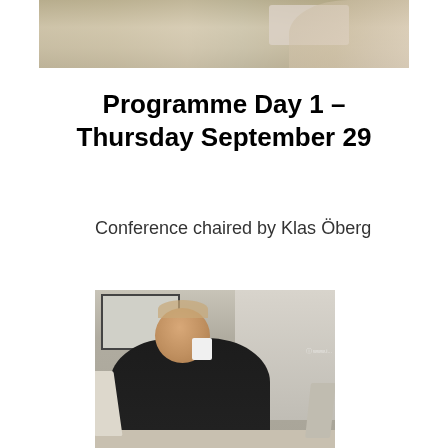[Figure (photo): Top portion of a conference photo showing a table and partial views of attendees]
Programme Day 1 – Thursday September 29
Conference chaired by Klas Öberg
[Figure (photo): Photo of Klas Öberg seated at a conference table, wearing a dark suit, with a whiteboard/screen in the background]